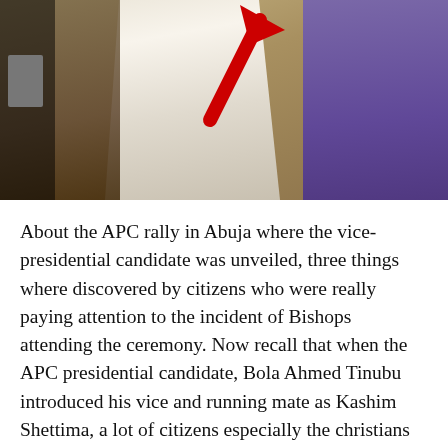[Figure (photo): A photograph showing people in traditional/ceremonial garments. One figure is wearing white/cream robes and another in purple robes. A large red arrow points upward-right toward the white-garbed figure. Dark overlay on left side with a rectangular object visible.]
About the APC rally in Abuja where the vice-presidential candidate was unveiled, three things where discovered by citizens who were really paying attention to the incident of Bishops attending the ceremony. Now recall that when the APC presidential candidate, Bola Ahmed Tinubu introduced his vice and running mate as Kashim Shettima, a lot of citizens especially the christians where not in support because it is a Muslim-Muslim ticket. So many people felt insecure religiously knowing the situations in Nigeria. So having pictures and videos of the said Bishops in attendance to the unveiling of the Muslim-Muslim ticket party, concerned quite off and b...